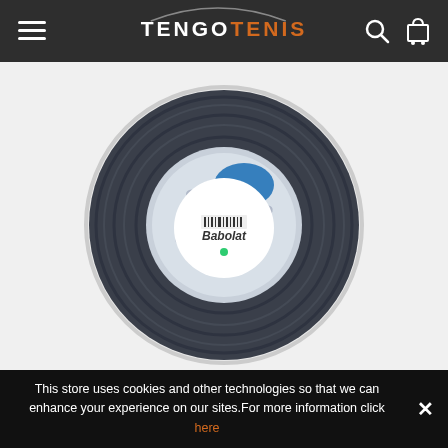TENGOTENIS
[Figure (photo): Babolat RPM Blast 1.25 200m tennis string reel - dark blue/grey reel with Babolat branding visible on white center label]
BABOLAT RPM BLAST 1.25 200M
€178.47 -46.83% €94.89
[Figure (other): Three action icon buttons: shopping bag, search/magnify, and eye/view - styled as blue parallelogram buttons]
This store uses cookies and other technologies so that we can enhance your experience on our sites.For more information click here